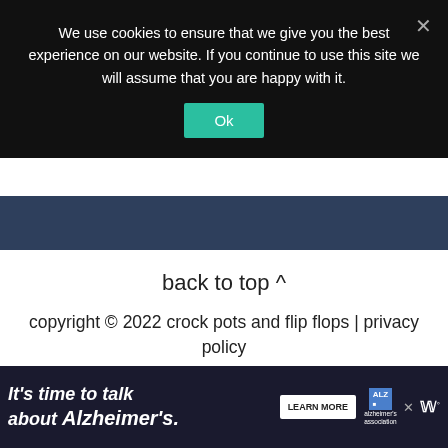We use cookies to ensure that we give you the best experience on our website. If you continue to use this site we will assume that you are happy with it.
Ok
back to top ^
copyright © 2022 crock pots and flip flops | privacy policy
site credits
Exclusive Member of Mediavine Food
[Figure (screenshot): Ad banner: It's time to talk about Alzheimer's. Learn More button. Alzheimer's Association logo. Close button. W logo.]